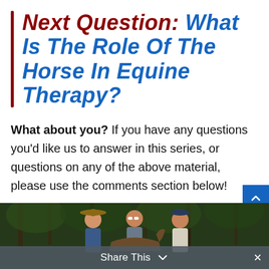Next Question: What is the Role of the Horse in Equine Therapy?
What about you? If you have any questions you'd like us to answer in this series, or questions on any of the above material, please use the comments section below!
[Figure (photo): Three people with a horse outdoors among trees; woman in cowboy hat on left, woman with sunglasses in center, person in cap on right.]
Share This